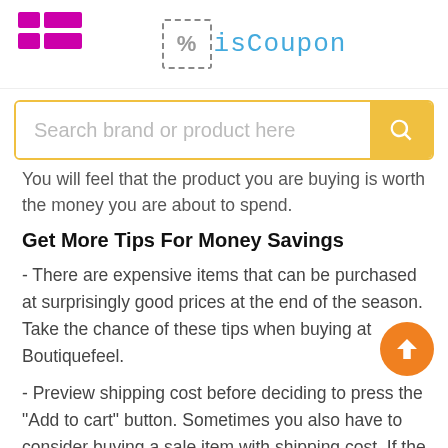isCoupon
You will feel that the product you are buying is worth the money you are about to spend.
Get More Tips For Money Savings
- There are expensive items that can be purchased at surprisingly good prices at the end of the season. Take the chance of these tips when buying at Boutiquefeel.
- Preview shipping cost before deciding to press the "Add to cart" button. Sometimes you also have to consider buying a sale item with shipping cost. If the shipping cost is too much for the item, you will have to think twice about the purchase. Make sure the shipper does not tap extra shipping charges
- Signing up your e-mail for keeping being